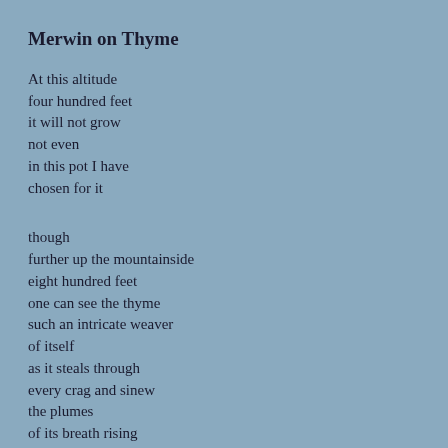Merwin on Thyme
At this altitude
four hundred feet
it will not grow
not even
in this pot I have
chosen for it
though
further up the mountainside
eight hundred feet
one can see the thyme
such an intricate weaver
of itself
as it steals through
every crag and sinew
the plumes
of its breath rising
no one